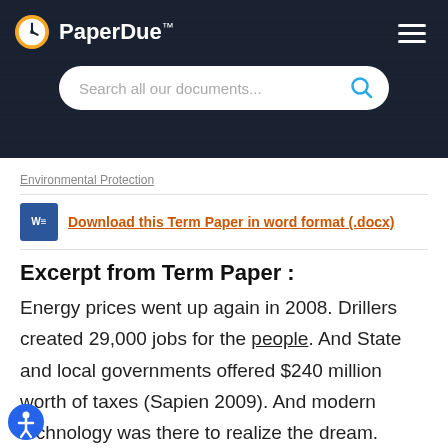PaperDue™ — Search all our documents...
Environmental Protection
Download this Term Paper in word format (.docx)
Excerpt from Term Paper :
Energy prices went up again in 2008. Drillers created 29,000 jobs for the people. And State and local governments offered $240 million worth of taxes (Sapien 2009). And modern technology was there to realize the dream.